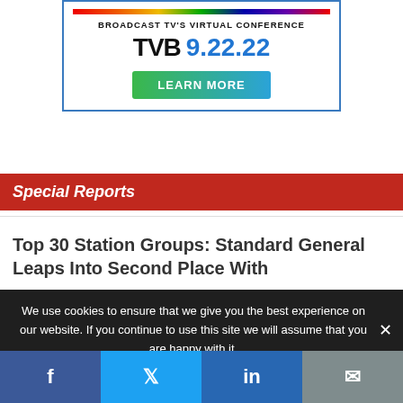[Figure (screenshot): Advertisement banner for 'FORWARD Broadcast TV's Virtual Conference TVB 9.22.22' with a LEARN MORE button]
Special Reports
Top 30 Station Groups: Standard General Leaps Into Second Place With Tegna Acquisition
We use cookies to ensure that we give you the best experience on our website. If you continue to use this site we will assume that you are happy with it.
[Figure (other): Social sharing bar with Facebook, Twitter, LinkedIn, and Email buttons]